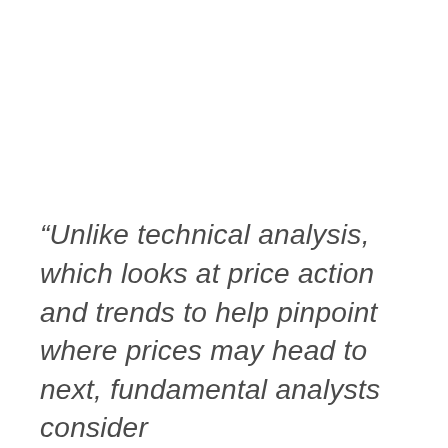“Unlike technical analysis, which looks at price action and trends to help pinpoint where prices may head to next, fundamental analysts consider